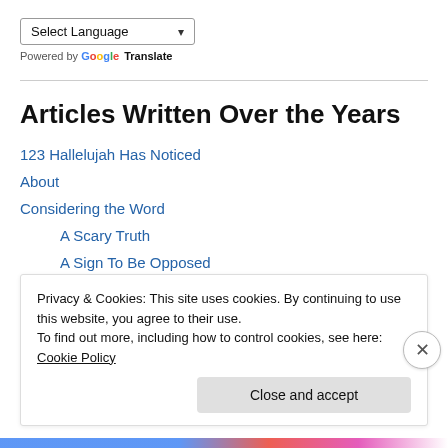Select Language
Powered by Google Translate
Articles Written Over the Years
123 Hallelujah Has Noticed
About
Considering the Word
A Scary Truth
A Sign To Be Opposed
Becoming A Christian Kid
Privacy & Cookies: This site uses cookies. By continuing to use this website, you agree to their use.
To find out more, including how to control cookies, see here: Cookie Policy
Close and accept